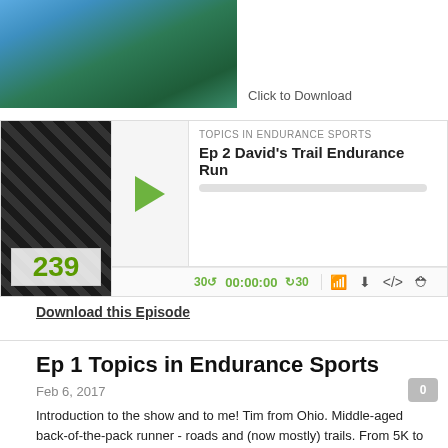[Figure (photo): Partial photo of a person with red hair wearing a green jacket, blue background]
Click to Download
[Figure (screenshot): Podcast player widget for 'Topics in Endurance Sports' - Ep 2 David's Trail Endurance Run, with play button, progress bar, time controls (30 back, 00:00:00, 30 forward), and icons]
Download this Episode
Ep 1 Topics in Endurance Sports
Feb 6, 2017
Introduction to the show and to me! Tim from Ohio. Middle-aged back-of-the-pack runner - roads and (now mostly) trails. From 5K to 100 miles. Also triathlons up through the Ironman distance. Have done a few road bike races and bike tours. By profession I'm a chemistry guy. Taught at universities and worked in the chemical industry. Now seeking chemistry consulting gigs. Now doing run coaching. HS XC coach for one year so far. What's podcast about? Purposely left a bit vague so I can change over time. Could be anything I find interesting. Running, triathlon, or other. Endurance ping pong. Backpacking. If you're not interested now, check out some other episodes. But I run a lot.